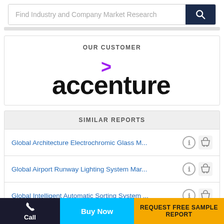[Figure (screenshot): Search bar with placeholder text 'Find Industry and Company Market Research' and a dark navy search button with magnifying glass icon]
[Figure (logo): Accenture logo with purple chevron '>' above the word 'accenture' in bold black, inside a box labeled 'OUR CUSTOMER']
SIMILAR REPORTS
Global Architecture Electrochromic Glass M...
Global Airport Runway Lighting System Mar...
Global Intelligent Automatic Sorting System ...
Call | Buy Now | REQUEST FREE SAMPLE REPORT